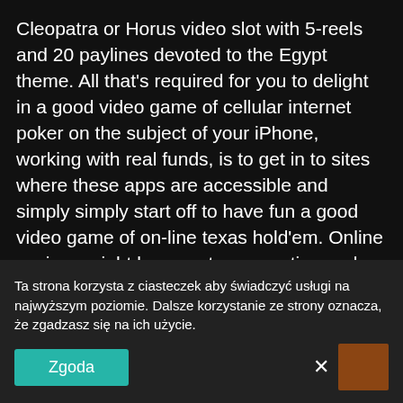Cleopatra or Horus video slot with 5-reels and 20 paylines devoted to the Egypt theme. All that's required for you to delight in a good video game of cellular internet poker on the subject of your iPhone, working with real funds, is to get in to sites where these apps are accessible and simply simply start off to have fun a good video game of on-line texas hold'em. Online casinos might be easy to connection and possess all of the exact activities due to traditional casinos.
Speech concept is already used extensively at on the net casino, but what we notice nowadays is only the Engadget suggestion of the iceberg. Countless members enjoy the variety of color palette, designs, and incredible level of quality when it comes to these choices of chips. The united states all players themselves they know precisely what you'll want when you're searching for the
Ta strona korzysta z ciasteczek aby świadczyć usługi na najwyższym poziomie. Dalsze korzystanie ze strony oznacza, że zgadzasz się na ich użycie.